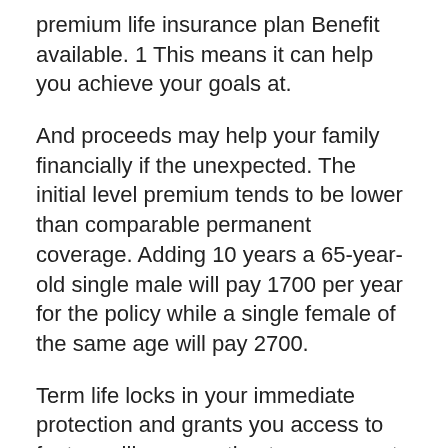premium life insurance plan Benefit available. 1 This means it can help you achieve your goals at.
And proceeds may help your family financially if the unexpected. The initial level premium tends to be lower than comparable permanent coverage. Adding 10 years a 65-year-old single male will pay 1700 per year for the policy while a single female of the same age will pay 2700.
Term life locks in your immediate protection and grants you access to features like converting to permanent coverage in the future if your life changes. The Accidental Benefit Rider offered within LIC term plan can be decided on by installment of extra premium whenever inside the premium paying term of the Base Policy gave the remarkable premium paying term of the